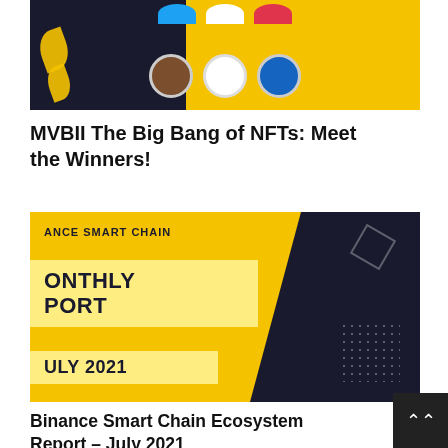[Figure (illustration): Colorful NFT project icons displayed as circular logos on a yellow and dark background. Partially visible top row with blue, white, red colored icons; bottom row shows brown/game icon, white alpaca/llama icon, and blue bird icon.]
MVBII The Big Bang of NFTs: Meet the Winners!
[Figure (illustration): Binance Smart Chain Monthly Report July 2021 promotional banner. Yellow background with dark navy diagonal panel on right. Shows text: 'ANCE SMART CHAIN', 'ONTHLY PORT', 'ULY 2021' on light-yellow boxes. Dark geometric and dot decorations visible.]
Binance Smart Chain Ecosystem Report – July 2021